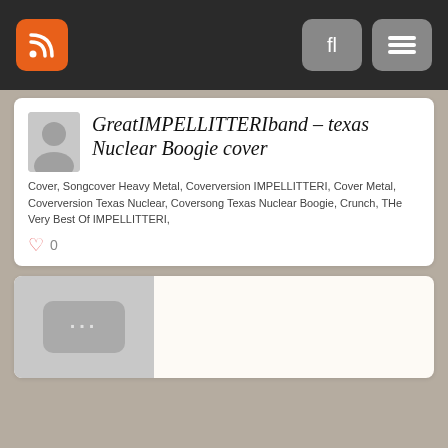RSS feed and navigation bar
GreatIMPELLITTERIband – texas Nuclear Boogie cover
Cover, Songcover Heavy Metal, Coverversion IMPELLITTERI, Cover Metal, Coverversion Texas Nuclear, Coversong Texas Nuclear Boogie, Crunch, THe Very Best Of IMPELLITTERI,
0
[Figure (screenshot): Thumbnail image placeholder with three dots icon]